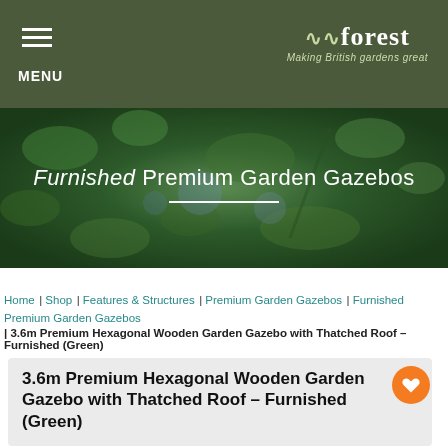MENU | Forest – Making British gardens great
[Figure (illustration): Hero banner with blurred garden background showing green foliage. Title text: Furnished Premium Garden Gazebos with white underline.]
Home | Shop | Features & Structures | Premium Garden Gazebos | Furnished Premium Garden Gazebos | 3.6m Premium Hexagonal Wooden Garden Gazebo with Thatched Roof – Furnished (Green)
3.6m Premium Hexagonal Wooden Garden Gazebo with Thatched Roof – Furnished (Green)